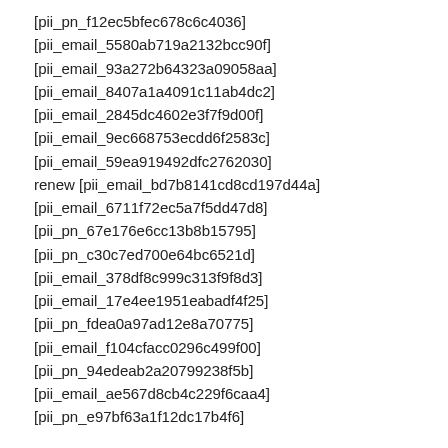[pii_pn_f12ec5bfec678c6c4036]
[pii_email_5580ab719a2132bcc90f]
[pii_email_93a272b64323a09058aa]
[pii_email_8407a1a4091c11ab4dc2]
[pii_email_2845dc4602e3f7f9d00f]
[pii_email_9ec668753ecdd6f2583c]
[pii_email_59ea919492dfc2762030]
renew [pii_email_bd7b8141cd8cd197d44a]
[pii_email_6711f72ec5a7f5dd47d8]
[pii_pn_67e176e6cc13b8b15795]
[pii_pn_c30c7ed700e64bc6521d]
[pii_email_378df8c999c313f9f8d3]
[pii_email_17e4ee1951eabadf4f25]
[pii_pn_fdea0a97ad12e8a70775]
[pii_email_f104cfacc0296c499f00]
[pii_pn_94edeab2a20799238f5b]
[pii_email_ae567d8cb4c229f6caa4]
[pii_pn_e97bf63a1f12dc17b4f6]